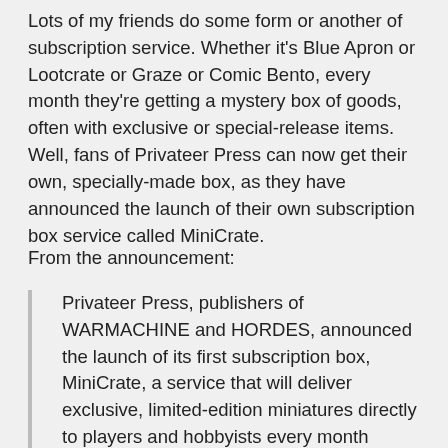Lots of my friends do some form or another of subscription service. Whether it's Blue Apron or Lootcrate or Graze or Comic Bento, every month they're getting a mystery box of goods, often with exclusive or special-release items. Well, fans of Privateer Press can now get their own, specially-made box, as they have announced the launch of their own subscription box service called MiniCrate.
From the announcement:
Privateer Press, publishers of WARMACHINE and HORDES, announced the launch of its first subscription box, MiniCrate, a service that will deliver exclusive, limited-edition miniatures directly to players and hobbyists every month beginning in October.